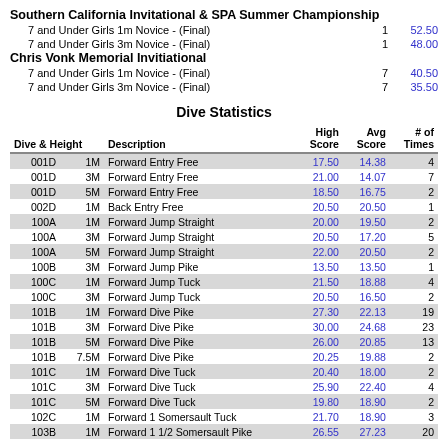Southern California Invitational & SPA Summer Championship
7 and Under Girls 1m Novice - (Final)   1   52.50
7 and Under Girls 3m Novice - (Final)   1   48.00
Chris Vonk Memorial Invitiational
7 and Under Girls 1m Novice - (Final)   7   40.50
7 and Under Girls 3m Novice - (Final)   7   35.50
Dive Statistics
| Dive & Height |  | Description | High Score | Avg Score | # of Times |
| --- | --- | --- | --- | --- | --- |
| 001D | 1M | Forward Entry Free | 17.50 | 14.38 | 4 |
| 001D | 3M | Forward Entry Free | 21.00 | 14.07 | 7 |
| 001D | 5M | Forward Entry Free | 18.50 | 16.75 | 2 |
| 002D | 1M | Back Entry Free | 20.50 | 20.50 | 1 |
| 100A | 1M | Forward Jump Straight | 20.00 | 19.50 | 2 |
| 100A | 3M | Forward Jump Straight | 20.50 | 17.20 | 5 |
| 100A | 5M | Forward Jump Straight | 22.00 | 20.50 | 2 |
| 100B | 3M | Forward Jump Pike | 13.50 | 13.50 | 1 |
| 100C | 1M | Forward Jump Tuck | 21.50 | 18.88 | 4 |
| 100C | 3M | Forward Jump Tuck | 20.50 | 16.50 | 2 |
| 101B | 1M | Forward Dive Pike | 27.30 | 22.13 | 19 |
| 101B | 3M | Forward Dive Pike | 30.00 | 24.68 | 23 |
| 101B | 5M | Forward Dive Pike | 26.00 | 20.85 | 13 |
| 101B | 7.5M | Forward Dive Pike | 20.25 | 19.88 | 2 |
| 101C | 1M | Forward Dive Tuck | 20.40 | 18.00 | 2 |
| 101C | 3M | Forward Dive Tuck | 25.90 | 22.40 | 4 |
| 101C | 5M | Forward Dive Tuck | 19.80 | 18.90 | 2 |
| 102C | 1M | Forward 1 Somersault Tuck | 21.70 | 18.90 | 3 |
| 103B | 1M | Forward 1 1/2 Somersault Pike | 26.55 | 27.23 | 20 |